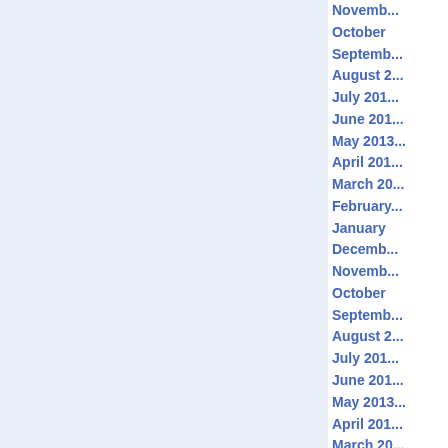October | September | August 2 | July 201 | June 201 | May 2013 | April 201 | March 20 | February | January | December | November | October | September | August 2 | July 201 | June 201 | May 2013 | April 201 | March 20 | February | January | December | November | October | September | August 2 | July 201 | June 201 | May 2010 | April 201 | March 20